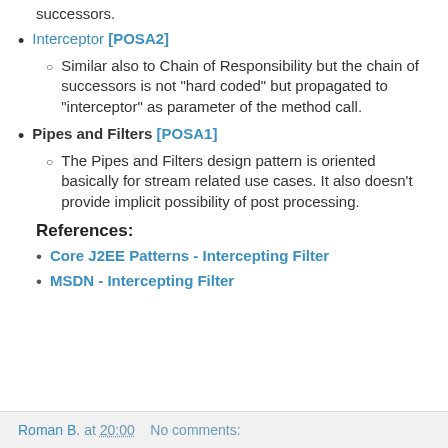successors.
Interceptor [POSA2]
Similar also to Chain of Responsibility but the chain of successors is not "hard coded" but propagated to "interceptor" as parameter of the method call.
Pipes and Filters [POSA1]
The Pipes and Filters design pattern is oriented basically for stream related use cases. It also doesn't provide implicit possibility of post processing.
References:
Core J2EE Patterns - Intercepting Filter
MSDN - Intercepting Filter
Roman B. at 20:00    No comments: